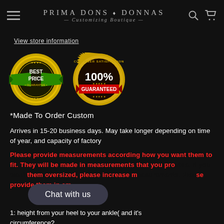Prima Dons ♦ Donnas — Customizing Boutique
View store information
[Figure (illustration): Two badge images: 'Best Price Guarantee' gold badge with green ribbon, and 'Customer Satisfaction 100% Guaranteed' gold seal with red ribbon.]
*Made To Order Custom
Arrives in 15-20 business days. May take longer depending on time of year, and capacity of factory
Please provide measurements according how you want them to fit. They will be made in measurements that you provide. If you want them oversized, please increase measurements. Please provide them in cm
1: height from your heel to your ankle( and it's circumference?